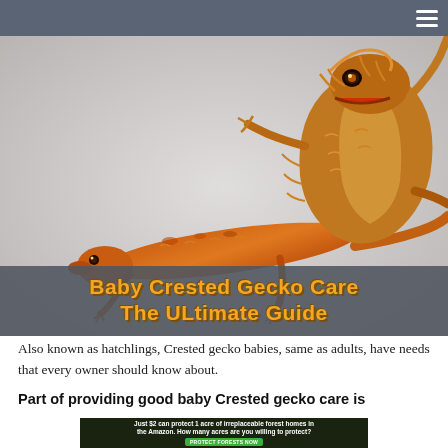≡
[Figure (photo): Two baby crested geckos (hatchlings) on a light gray background. One gecko is facing left and is more orange/red colored with visible skin texture. The other is climbing upward at the top right. Both are small and young.]
Baby Crested Gecko Care
The ULtimate Guide
Also known as hatchlings, Crested gecko babies, same as adults, have needs that every owner should know about.
Part of providing good baby Crested gecko care is
[Figure (photo): Advertisement banner: 'Just $2 can protect 1 acre of irreplaceable forest homes in the Amazon. How many acres are you willing to protect?' with a green 'PROTECT FORESTS NOW' button.]